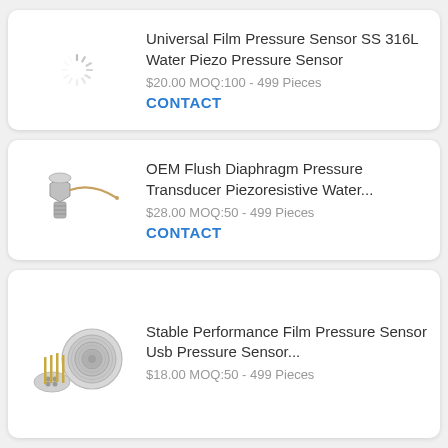[Figure (photo): Loading spinner icon (circular dashed lines indicating image loading)]
Universal Film Pressure Sensor SS 316L Water Piezo Pressure Sensor
$20.00 MOQ:100 - 499 Pieces
CONTACT
[Figure (photo): OEM flush diaphragm pressure transducer hardware component with threaded fitting and wire leads]
OEM Flush Diaphragm Pressure Transducer Piezoresistive Water...
$28.00 MOQ:50 - 499 Pieces
CONTACT
[Figure (photo): Stable performance film pressure sensor with circular disc and pin components]
Stable Performance Film Pressure Sensor Usb Pressure Sensor...
$18.00 MOQ:50 - 499 Pieces